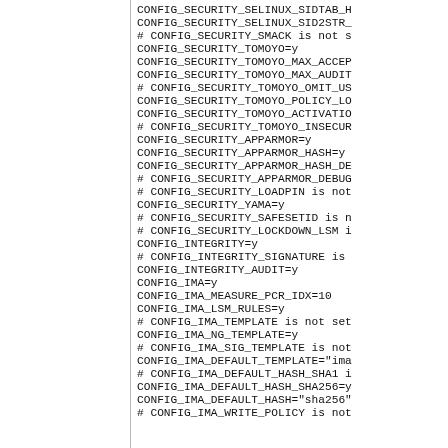CONFIG_SECURITY_SELINUX_SIDTAB_H
CONFIG_SECURITY_SELINUX_SID2STR_
# CONFIG_SECURITY_SMACK is not s
CONFIG_SECURITY_TOMOYO=y
CONFIG_SECURITY_TOMOYO_MAX_ACCEP
CONFIG_SECURITY_TOMOYO_MAX_AUDIT
# CONFIG_SECURITY_TOMOYO_OMIT_US
CONFIG_SECURITY_TOMOYO_POLICY_LO
CONFIG_SECURITY_TOMOYO_ACTIVATIO
# CONFIG_SECURITY_TOMOYO_INSECUR
CONFIG_SECURITY_APPARMOR=y
CONFIG_SECURITY_APPARMOR_HASH=y
CONFIG_SECURITY_APPARMOR_HASH_DE
# CONFIG_SECURITY_APPARMOR_DEBUG
# CONFIG_SECURITY_LOADPIN is not
CONFIG_SECURITY_YAMA=y
# CONFIG_SECURITY_SAFESETID is n
# CONFIG_SECURITY_LOCKDOWN_LSM i
CONFIG_INTEGRITY=y
# CONFIG_INTEGRITY_SIGNATURE is 
CONFIG_INTEGRITY_AUDIT=y
CONFIG_IMA=y
CONFIG_IMA_MEASURE_PCR_IDX=10
CONFIG_IMA_LSM_RULES=y
# CONFIG_IMA_TEMPLATE is not set
CONFIG_IMA_NG_TEMPLATE=y
# CONFIG_IMA_SIG_TEMPLATE is not
CONFIG_IMA_DEFAULT_TEMPLATE="ima
# CONFIG_IMA_DEFAULT_HASH_SHA1 i
CONFIG_IMA_DEFAULT_HASH_SHA256=y
CONFIG_IMA_DEFAULT_HASH="sha256"
# CONFIG_IMA_WRITE_POLICY is not